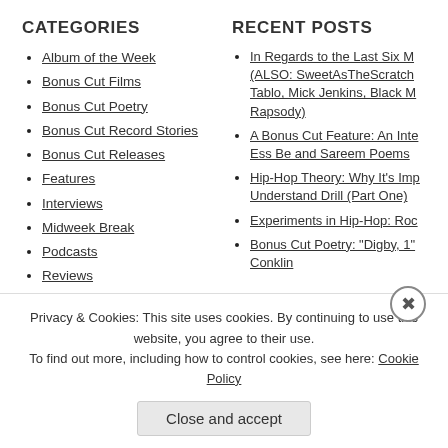CATEGORIES
Album of the Week
Bonus Cut Films
Bonus Cut Poetry
Bonus Cut Record Stories
Bonus Cut Releases
Features
Interviews
Midweek Break
Podcasts
Reviews
The Mixes
Uncategorized
RECENT POSTS
In Regards to the Last Six M... (ALSO: SweetAsTheScratch... Tablo, Mick Jenkins, Black M... Rapsody)
A Bonus Cut Feature: An Inte... Ess Be and Sareem Poems
Hip-Hop Theory: Why It's Imp... Understand Drill (Part One)
Experiments in Hip-Hop: Roo...
Bonus Cut Poetry: "Digby, 1"... Conklin
Privacy & Cookies: This site uses cookies. By continuing to use this website, you agree to their use. To find out more, including how to control cookies, see here: Cookie Policy
Close and accept